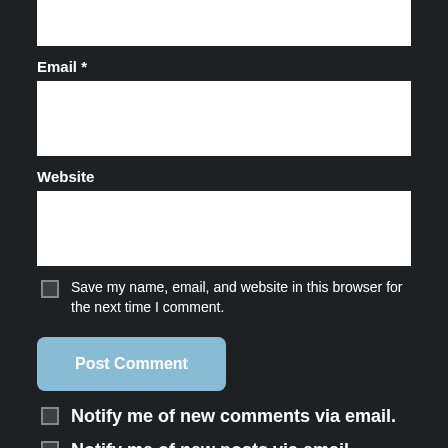[Figure (screenshot): Top white input box (partially visible at top of page)]
Email *
[Figure (screenshot): Email text input field (white rectangle)]
Website
[Figure (screenshot): Website text input field (white rectangle)]
Save my name, email, and website in this browser for the next time I comment.
Post Comment
Notify me of new comments via email.
Notify me of new posts via email.